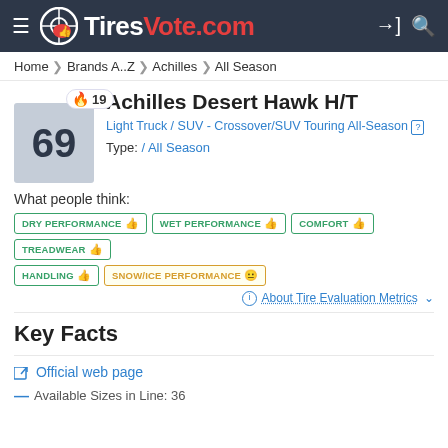TiresVote.com
Home > Brands A..Z > Achilles > All Season
Achilles Desert Hawk H/T
Light Truck / SUV - Crossover/SUV Touring All-Season
Type: / All Season
What people think:
DRY PERFORMANCE
WET PERFORMANCE
COMFORT
TREADWEAR
HANDLING
SNOW/ICE PERFORMANCE
About Tire Evaluation Metrics
Key Facts
Official web page
Available Sizes in Line: 36